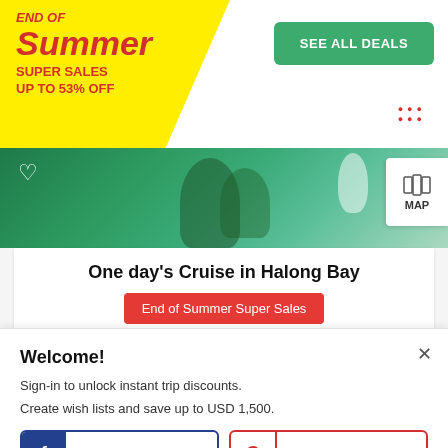[Figure (screenshot): Travel booking page screenshot showing End of Summer Super Sales promotion badge, SEE ALL DEALS button, tropical image strip with heart icon and MAP button]
One day's Cruise in Halong Bay
End of Summer Super Sales
✓ Free cancellation  ✓ Best price guaranteed
Welcome!
Sign-in to unlock instant trip discounts. Create wish lists and save up to USD 1,500.
FACEBOOK
GOOGLE
More login options here.